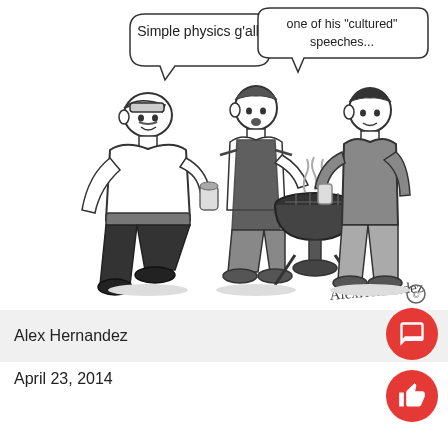[Figure (illustration): Black and white cartoon drawing of three men at a BBQ grill. Speech bubbles read: 'Simple physics g'all!' from the man on the left who is sitting/leaning casually holding a drink, and 'one of his "cultured" speeches...' from the man in the middle wearing an apron who is grilling. A third man stands on the right holding a drink. The artist signature 'AlexHernandez' with a copyright symbol appears at the bottom right of the illustration.]
Alex Hernandez
April 23, 2014